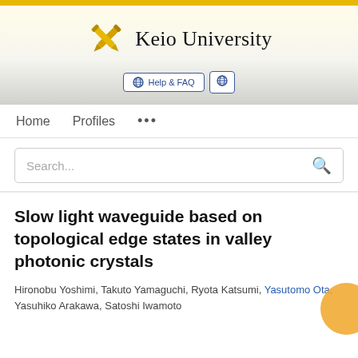[Figure (logo): Keio University logo with crossed pens icon and university name]
Help & FAQ | globe icon
Home   Profiles   ...
Search...
Slow light waveguide based on topological edge states in valley photonic crystals
Hironobu Yoshimi, Takuto Yamaguchi, Ryota Katsumi, Yasutomo Ota, Yasuhiko Arakawa, Satoshi Iwamoto